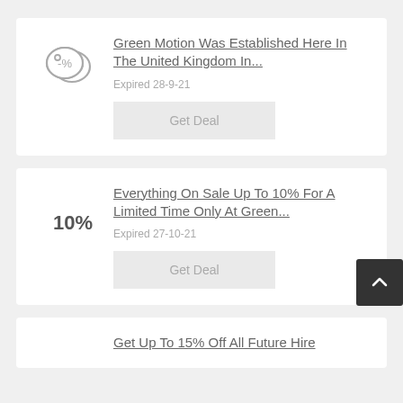Green Motion Was Established Here In The United Kingdom In...
Expired 28-9-21
Get Deal
Everything On Sale Up To 10% For A Limited Time Only At Green...
Expired 27-10-21
Get Deal
Get Up To 15% Off All Future Hire